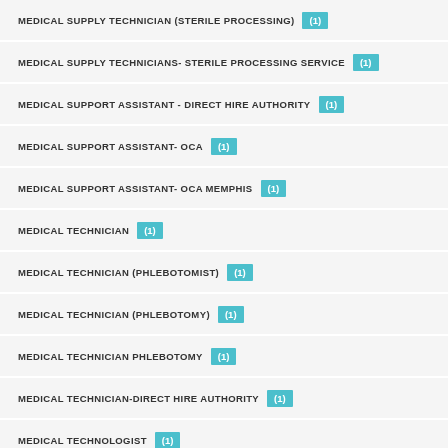MEDICAL SUPPLY TECHNICIAN (STERILE PROCESSING) (1)
MEDICAL SUPPLY TECHNICIANS- STERILE PROCESSING SERVICE (1)
MEDICAL SUPPORT ASSISTANT - DIRECT HIRE AUTHORITY (1)
MEDICAL SUPPORT ASSISTANT- OCA (1)
MEDICAL SUPPORT ASSISTANT- OCA MEMPHIS (1)
MEDICAL TECHNICIAN (1)
MEDICAL TECHNICIAN (PHLEBOTOMIST) (1)
MEDICAL TECHNICIAN (PHLEBOTOMY) (1)
MEDICAL TECHNICIAN PHLEBOTOMY (1)
MEDICAL TECHNICIAN-DIRECT HIRE AUTHORITY (1)
MEDICAL TECHNOLOGIST (1)
MEDICAL TECHNOLOGIST (GENERALIST) (1)
MEDICAL TECHNOLOGIST - INTERNAL (1)